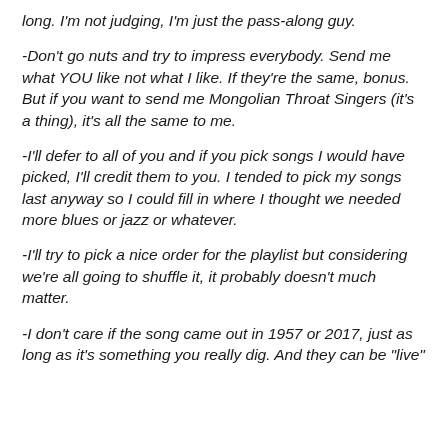long. I'm not judging, I'm just the pass-along guy.
-Don't go nuts and try to impress everybody. Send me what YOU like not what I like. If they're the same, bonus. But if you want to send me Mongolian Throat Singers (it's a thing), it's all the same to me.
-I'll defer to all of you and if you pick songs I would have picked, I'll credit them to you. I tended to pick my songs last anyway so I could fill in where I thought we needed more blues or jazz or whatever.
-I'll try to pick a nice order for the playlist but considering we're all going to shuffle it, it probably doesn't much matter.
-I don't care if the song came out in 1957 or 2017, just as long as it's something you really dig. And they can be "live"